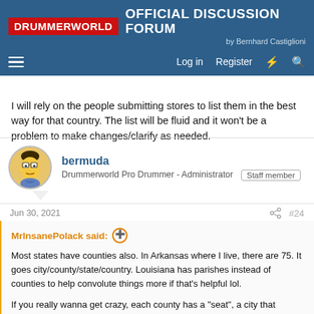DRUMMERWORLD OFFICIAL DISCUSSION FORUM by Bernhard Castiglioni
I will rely on the people submitting stores to list them in the best way for that country. The list will be fluid and it won't be a problem to make changes/clarify as needed.
bermuda
Drummerworld Pro Drummer - Administrator  Staff member
Jun 30, 2021  #24
MrInsanePolack said:
Most states have counties also. In Arkansas where I live, there are 75. It goes city/county/state/country. Louisiana has parishes instead of counties to help convolute things more if that's helpful lol.

If you really wanna get crazy, each county has a "seat", a city that